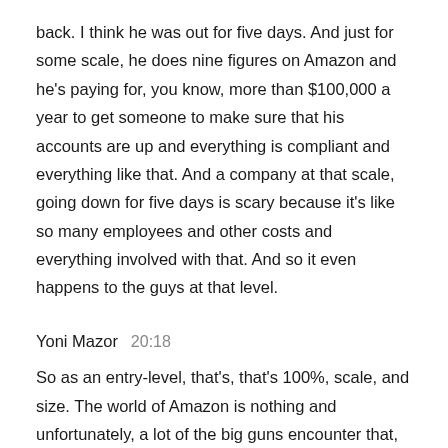back. I think he was out for five days. And just for some scale, he does nine figures on Amazon and he's paying for, you know, more than $100,000 a year to get someone to make sure that his accounts are up and everything is compliant and everything like that. And a company at that scale, going down for five days is scary because it's like so many employees and other costs and everything involved with that. And so it even happens to the guys at that level.
Yoni Mazor  20:18
So as an entry-level, that's, that's 100%, scale, and size. The world of Amazon is nothing and unfortunately, a lot of the big guns encounter that, they come to a shocking